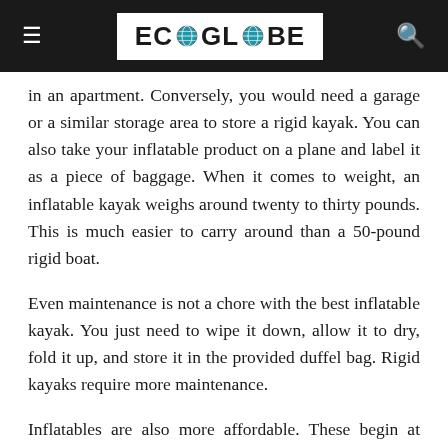ECO GLOBE
in an apartment. Conversely, you would need a garage or a similar storage area to store a rigid kayak. You can also take your inflatable product on a plane and label it as a piece of baggage. When it comes to weight, an inflatable kayak weighs around twenty to thirty pounds. This is much easier to carry around than a 50-pound rigid boat.
Even maintenance is not a chore with the best inflatable kayak. You just need to wipe it down, allow it to dry, fold it up, and store it in the provided duffel bag. Rigid kayaks require more maintenance.
Inflatables are also more affordable. These begin at $100 and increase to about $600, with a vast selection